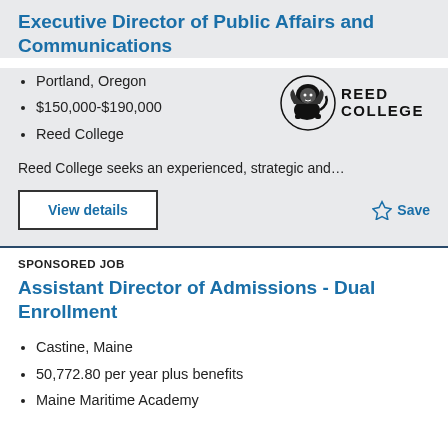Executive Director of Public Affairs and Communications
Portland, Oregon
$150,000-$190,000
Reed College
[Figure (logo): Reed College logo with griffin/lion illustration and text REED COLLEGE]
Reed College seeks an experienced, strategic and…
View details
☆ Save
SPONSORED JOB
Assistant Director of Admissions - Dual Enrollment
Castine, Maine
50,772.80 per year plus benefits
Maine Maritime Academy